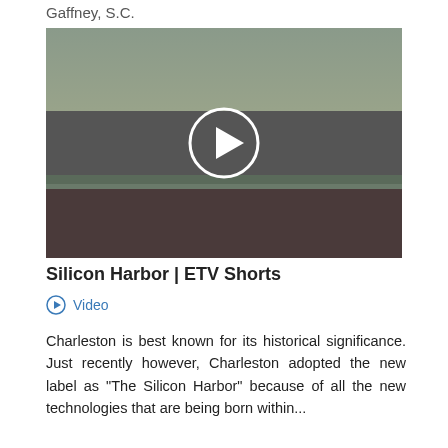Gaffney, S.C.
[Figure (screenshot): Video thumbnail showing a harbor scene with a large naval ship/aircraft carrier docked, buildings in the foreground, and an overcast sky. A white circular play button is centered on the image.]
Silicon Harbor | ETV Shorts
Video
Charleston is best known for its historical significance. Just recently however, Charleston adopted the new label as "The Silicon Harbor" because of all the new technologies that are being born within...